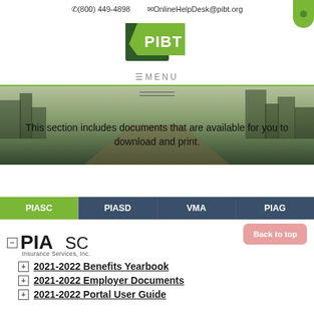(800) 449-4898  OnlineHelpDesk@pibt.org
[Figure (logo): PIBT logo — green square badge with white text PIBT]
≡MENU
This section includes documents that are available for you to download and print.
PIASC  PIASD  VMA  PIAG
Back to top
[Figure (logo): PIASC Insurance Services, Inc. logo]
+ 2021-2022 Benefits Yearbook
+ 2021-2022 Employer Documents
+ 2021-2022 Portal User Guide